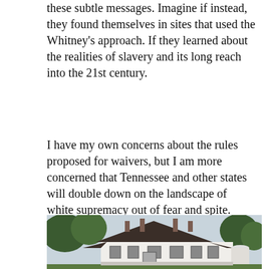these subtle messages. Imagine if instead, they found themselves in sites that used the Whitney's approach. If they learned about the realities of slavery and its long reach into the 21st century.
I have my own concerns about the rules proposed for waivers, but I am more concerned that Tennessee and other states will double down on the landscape of white supremacy out of fear and spite.
[Figure (photo): Exterior photograph of a historic white plantation-style house with a dark shingled roof, chimneys, multiple windows with shutters, flanked by large trees and a cylindrical structure on the right. Appears to be a Southern antebellum estate.]